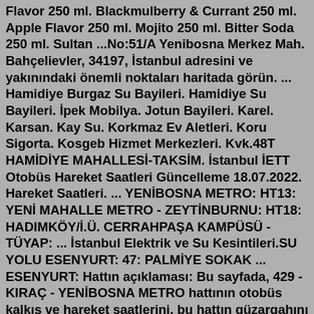Flavor 250 ml. Blackmulberry & Currant 250 ml. Apple Flavor 250 ml. Mojito 250 ml. Bitter Soda 250 ml. Sultan ...No:51/A Yenibosna Merkez Mah. Bahçelievler, 34197, İstanbul adresini ve yakınındaki önemli noktaları haritada görün. ... Hamidiye Burgaz Su Bayileri. Hamidiye Su Bayileri. İpek Mobilya. Jotun Bayileri. Karel. Karsan. Kay Su. Korkmaz Ev Aletleri. Koru Sigorta. Kosgeb Hizmet Merkezleri. Kvk.48T HAMİDİYE MAHALLESİ-TAKSİM. İstanbul İETT Otobüs Hareket Saatleri Güncelleme 18.07.2022. Hareket Saatleri. ... YENİBOSNA METRO: HT13: YENİ MAHALLE METRO - ZEYTİNBURNU: HT18: HADIMKÖY/İ.Ü. CERRAHPAŞA KAMPÜSÜ - TÜYAP: ... İstanbul Elektrik ve Su Kesintileri.SU YOLU ESENYURT: 47: PALMİYE SOKAK ... ESENYURT: Hattın açıklaması: Bu sayfada, 429 - KIRAÇ - YENİBOSNA METRO hattının otobüs kalkış ve hareket saatlerini, bu hattın güzargahını ve otobüslerin geçtiği durak isimlerini öğrenebilirsiniz. Anahtar Kelimeler: 429 - KIRAÇ - YENİBOSNA METRO